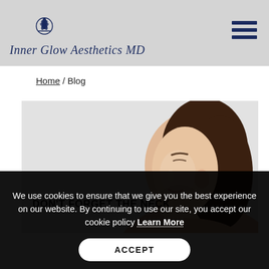Inner Glow Aesthetics MD
Home / Blog
[Figure (photo): Woman with eyes closed, facing right in profile, with smooth skin, on a light grey background. Blog card for 'DON'T FORGET THE NECK'.]
We use cookies to ensure that we give you the best experience on our website. By continuing to use our site, you accept our cookie policy Learn More
ACCEPT